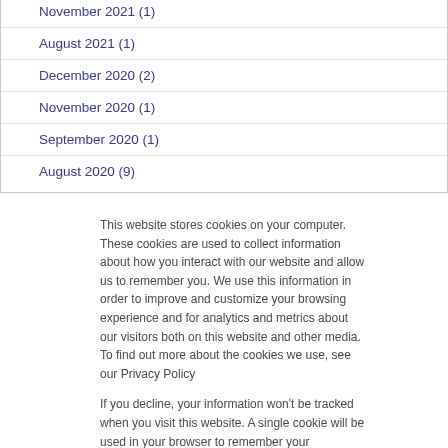November 2021 (1)
August 2021 (1)
December 2020 (2)
November 2020 (1)
September 2020 (1)
August 2020 (9)
This website stores cookies on your computer. These cookies are used to collect information about how you interact with our website and allow us to remember you. We use this information in order to improve and customize your browsing experience and for analytics and metrics about our visitors both on this website and other media. To find out more about the cookies we use, see our Privacy Policy
If you decline, your information won't be tracked when you visit this website. A single cookie will be used in your browser to remember your preference not to be tracked.